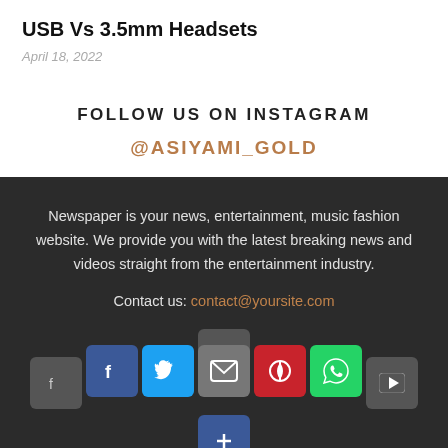USB Vs 3.5mm Headsets
April 18, 2022
FOLLOW US ON INSTAGRAM
@ASIYAMI_GOLD
Newspaper is your news, entertainment, music fashion website. We provide you with the latest breaking news and videos straight from the entertainment industry.
Contact us: contact@yoursite.com
[Figure (infographic): Social media icon buttons: Facebook, Twitter, Email, Pinterest, WhatsApp, YouTube (row 1 background icons), and a Share button (row 2)]